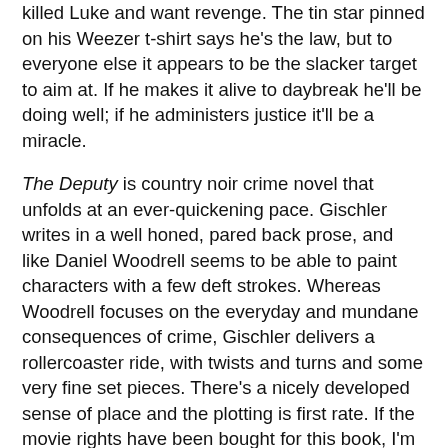killed Luke and want revenge. The tin star pinned on his Weezer t-shirt says he's the law, but to everyone else it appears to be the slacker target to aim at. If he makes it alive to daybreak he'll be doing well; if he administers justice it'll be a miracle.
The Deputy is country noir crime novel that unfolds at an ever-quickening pace. Gischler writes in a well honed, pared back prose, and like Daniel Woodrell seems to be able to paint characters with a few deft strokes. Whereas Woodrell focuses on the everyday and mundane consequences of crime, Gischler delivers a rollercoaster ride, with twists and turns and some very fine set pieces. There's a nicely developed sense of place and the plotting is first rate. If the movie rights have been bought for this book, I'm begging you, don't change a goddamn thing. Seriously, there's no need. The scenes, the pace, the dialogue, the characters, it's all perfect as it is. Just cast a decent lead and fill the rest with a good ensemble cast, as per Winter's Bone. If the rights haven't been sold, then what are you producer's waiting for? If there was ever a book crying out to be made into a movie, this is it. I thought it was a blast of a read and zipped through it in a sitting. Sawyer has great potential as